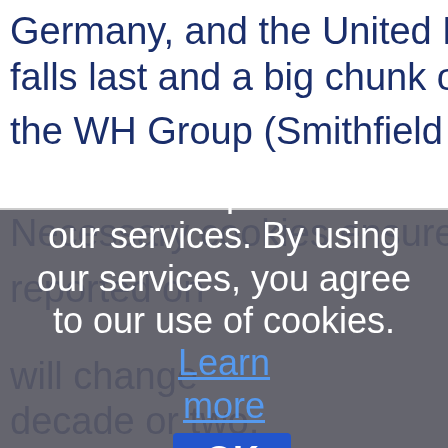Germany, and the United Kingdom falls last and a big chunk of it is the WH Group (Smithfield Foods
[Figure (screenshot): Cookie consent modal overlay with dark gray semi-transparent background. Text reads: 'Cookies help us deliver our services. By using our services, you agree to our use of cookies. Learn more' with an OK button.]
will change this further in the next decade or two, as returns